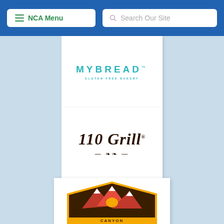NCA Menu | Search Our Site
[Figure (logo): MyBread Gluten Free Bakery logo - teal text on white card]
[Figure (logo): 110 Grill logo - dark italic script text with decorative divider on white card]
[Figure (logo): Canyon Bakehouse Gluten Free logo - eagle/mountain badge with gold and brown colors]